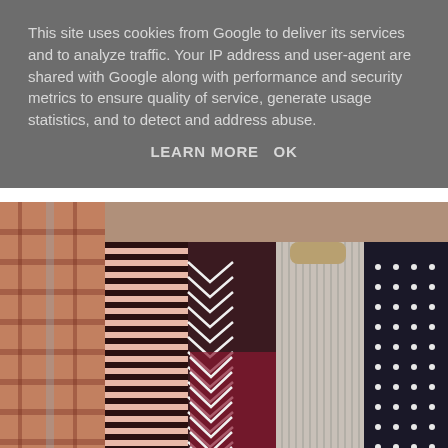This site uses cookies from Google to deliver its services and to analyze traffic. Your IP address and user-agent are shared with Google along with performance and security metrics to ensure quality of service, generate usage statistics, and to detect and address abuse.
LEARN MORE   OK
[Figure (photo): A flat lay photo of multiple folded/hung tops including a plaid flannel shirt, a pink and black striped top, a dark chevron/zigzag patterned top, a ribbed grey top, and a navy polka dot top arranged side by side.]